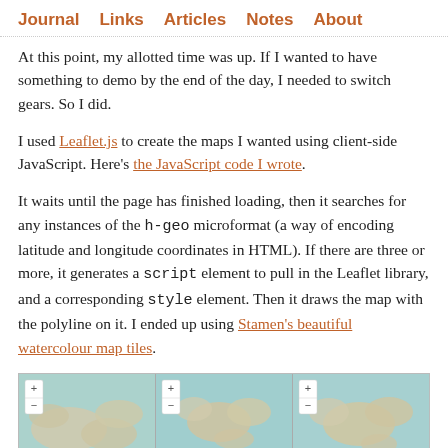Journal   Links   Articles   Notes   About
At this point, my allotted time was up. If I wanted to have something to demo by the end of the day, I needed to switch gears. So I did.
I used Leaflet.js to create the maps I wanted using client-side JavaScript. Here's the JavaScript code I wrote.
It waits until the page has finished loading, then it searches for any instances of the h-geo microformat (a way of encoding latitude and longitude coordinates in HTML). If there are three or more, it generates a script element to pull in the Leaflet library, and a corresponding style element. Then it draws the map with the polyline on it. I ended up using Stamen's beautiful watercolour map tiles.
[Figure (map): Three side-by-side Stamen watercolour map tiles showing different geographic regions, each with zoom +/- controls in the top-left corner.]